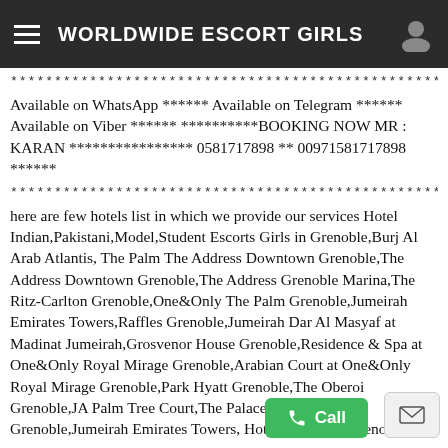WORLDWIDE ESCORT GIRLS
************************************************************
Available on WhatsApp ****** Available on Telegram ****** Available on Viber ****** **********BOOKING NOW MR : KARAN **************** 0581717898 ** 00971581717898 ******
************************************************************
here are few hotels list in which we provide our services Hotel Indian,Pakistani,Model,Student Escorts Girls in Grenoble,Burj Al Arab Atlantis, The Palm The Address Downtown Grenoble,The Address Downtown Grenoble,The Address Grenoble Marina,The Ritz-Carlton Grenoble,One&Only The Palm Grenoble,Jumeirah Emirates Towers,Raffles Grenoble,Jumeirah Dar Al Masyaf at Madinat Jumeirah,Grosvenor House Grenoble,Residence & Spa at One&Only Royal Mirage Grenoble,Arabian Court at One&Only Royal Mirage Grenoble,Park Hyatt Grenoble,The Oberoi Grenoble,JA Palm Tree Court,The Palace Downtown Grenoble,Jumeirah Emirates Towers, Hotel Escorts in Grenoble